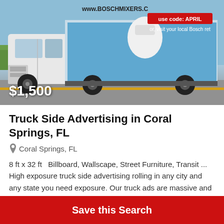[Figure (photo): A large box truck with a Bosch Mixers advertisement on the side panel, showing a mixer and text 'www.boschmixers.c... use code: APRIL. or visit your local Bosch ret...' The truck is on a road with green grass in the background.]
Truck Side Advertising in Coral Springs, FL
Coral Springs, FL
8 ft x 32 ft  Billboard, Wallscape, Street Furniture, Transit ... High exposure truck side advertising rolling in any city and any state you need exposure. Our truck ads are massive and guaranteed to get your message heard. We go beyond GPS tracking with our 3rd party auditors to track results, ROI and display freq...
Save this Search